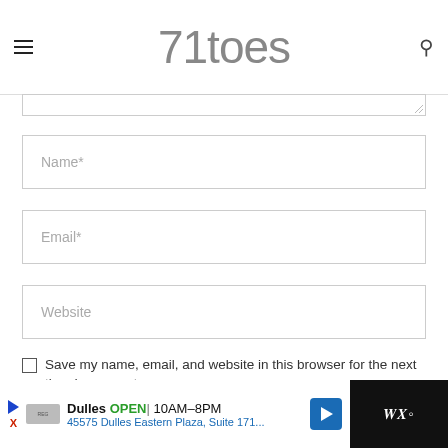71toes
[Figure (screenshot): Textarea input stub at the top of the form]
Name*
Email*
Website
Save my name, email, and website in this browser for the next time I comment.
Notify me of followup comments via e-mail. You can
[Figure (screenshot): Ad banner for Dulles store: OPEN 10AM-8PM, 45575 Dulles Eastern Plaza, Suite 171...]